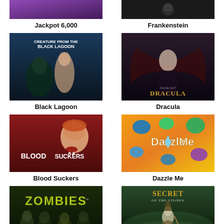[Figure (screenshot): Jackpot 6,000 slot game thumbnail - partial view, purple/dark background]
Jackpot 6,000
[Figure (screenshot): Frankenstein slot game thumbnail - partial view, dark background]
Frankenstein
[Figure (screenshot): Creature from the Black Lagoon slot game thumbnail]
Black Lagoon
[Figure (screenshot): Dracula online slot game thumbnail - dark gothic theme with bat wings]
Dracula
[Figure (screenshot): Blood Suckers slot game thumbnail - vampire woman illustration]
Blood Suckers
[Figure (screenshot): Dazzle Me slot game thumbnail - colorful gems on orange background]
Dazzle Me
[Figure (screenshot): Zombies slot game thumbnail - dark green horror theme]
[Figure (screenshot): Secret of the Stones slot game thumbnail - wizard in green misty forest]